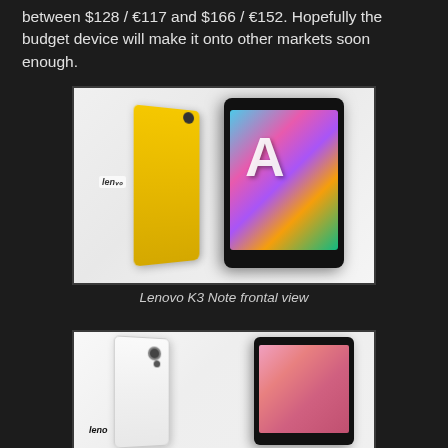between $128 / €117 and $166 / €152. Hopefully the budget device will make it onto other markets soon enough.
[Figure (photo): Lenovo K3 Note smartphone shown from the back (yellow) and front with colorful graffiti wallpaper on screen]
Lenovo K3 Note frontal view
[Figure (photo): Lenovo K3 Note smartphone shown from the back (white) and front with pink/floral wallpaper on screen]